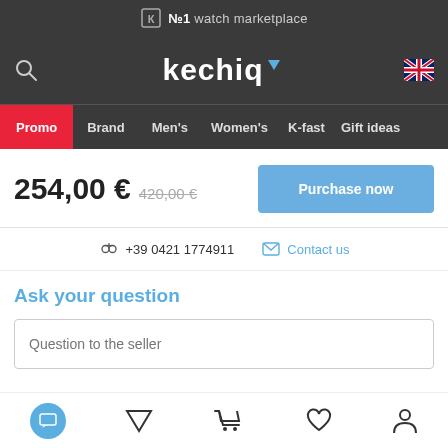№1 watch marketplace
[Figure (logo): Kechiq logo with blue drop icon]
[Figure (screenshot): Navigation menu: Promo, Brand, Men's, Women's, K-fast, Gift ideas]
254,00 € 420,00 €
Purchase now
+39 0421 1774911   Contact us
Ask your question
Question to the seller
[Figure (illustration): Kechiq help/question center icon (triangle with question mark circle)]
[Figure (infographic): Bottom navigation bar with chat, dropdown, cart, heart, and profile icons]